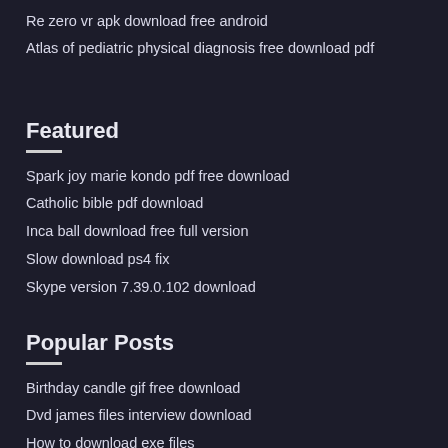Re zero vr apk download free android
Atlas of pediatric physical diagnosis free download pdf
Featured
Spark joy marie kondo pdf free download
Catholic bible pdf download
Inca ball download free full version
Slow download ps4 fix
Skype version 7.39.0.102 download
Popular Posts
Birthday candle gif free download
Dvd james files interview download
How to download exe files